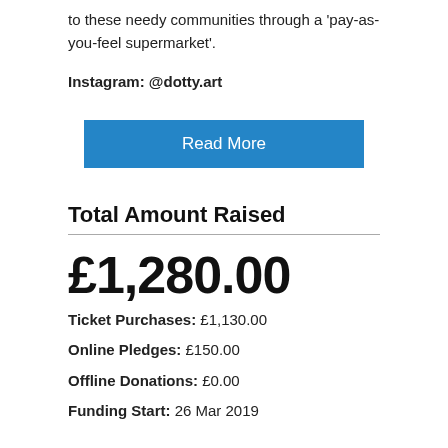to these needy communities through a 'pay-as-you-feel supermarket'.
Instagram: @dotty.art
[Figure (other): Blue 'Read More' button]
Total Amount Raised
£1,280.00
Ticket Purchases: £1,130.00
Online Pledges: £150.00
Offline Donations: £0.00
Funding Start: 26 Mar 2019